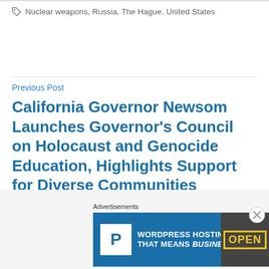Nuclear weapons, Russia, The Hague, United States
Previous Post
California Governor Newsom Launches Governor's Council on Holocaust and Genocide Education, Highlights Support for Diverse Communities
Next Post
Advertisements
[Figure (infographic): WordPress Hosting advertisement banner with blue background, white P logo box, text WORDPRESS HOSTING THAT MEANS BUSINESS., and OPEN sign photo on right side]